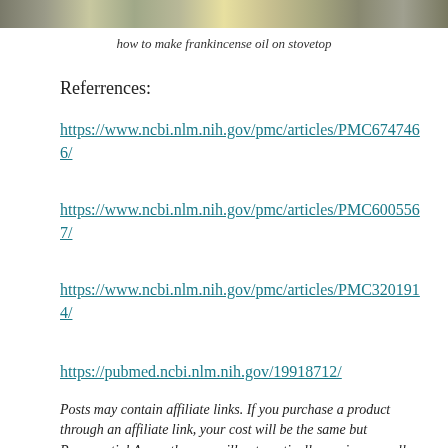[Figure (photo): Partial image at top of page showing natural elements, possibly frankincense resin or herbs with yellow elements visible]
how to make frankincense oil on stovetop
Referrences:
https://www.ncbi.nlm.nih.gov/pmc/articles/PMC6747466/
https://www.ncbi.nlm.nih.gov/pmc/articles/PMC6005567/
https://www.ncbi.nlm.nih.gov/pmc/articles/PMC3201914/
https://pubmed.ncbi.nlm.nih.gov/19918712/
Posts may contain affiliate links. If you purchase a product through an affiliate link, your cost will be the same but Puressential Aromatherapy will automatically receive a small commission